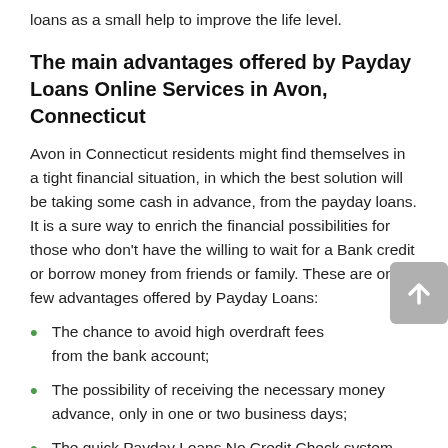loans as a small help to improve the life level.
The main advantages offered by Payday Loans Online Services in Avon, Connecticut
Avon in Connecticut residents might find themselves in a tight financial situation, in which the best solution will be taking some cash in advance, from the payday loans. It is a sure way to enrich the financial possibilities for those who don't have the willing to wait for a Bank credit or borrow money from friends or family. These are only few advantages offered by Payday Loans:
The chance to avoid high overdraft fees from the bank account;
The possibility of receiving the necessary money advance, only in one or two business days;
The quick Payday Loans No Credit Check system exempts from addition time spending;